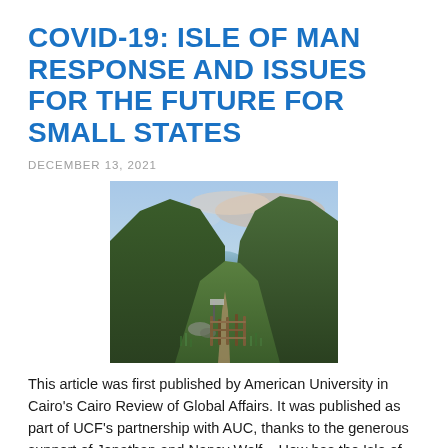COVID-19: ISLE OF MAN RESPONSE AND ISSUES FOR THE FUTURE FOR SMALL STATES
DECEMBER 13, 2021
[Figure (photo): Scenic landscape photo of the Isle of Man showing a green valley between hills with a wooden gate in the foreground and a sunset sky with soft blue and pink hues in the background, water visible in the distance.]
This article was first published by American University in Cairo's Cairo Review of Global Affairs. It was published as part of UCF's partnership with AUC, thanks to the generous support of Jonathan and Nancy Wolf.   How has the Isle of Man and other small states responded and